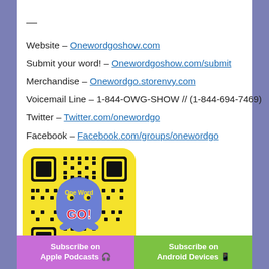—
Website – Onewordgoshow.com
Submit your word! – Onewordgoshow.com/submit
Merchandise – Onewordgo.storenvy.com
Voicemail Line – 1-844-OWG-SHOW // (1-844-694-7469)
Twitter – Twitter.com/onewordgo
Facebook – Facebook.com/groups/onewordgo
[Figure (other): Snapchat QR code / snapcode for One Word Go show, yellow background with ghost logo and red GO! text]
Share:
[Figure (infographic): Social media share icons: Facebook, Twitter, Digg, Reddit, Tumblr, Pinterest, WhatsApp, StumbleUpon]
Subscribe on Apple Podcasts  |  Subscribe on Android Devices